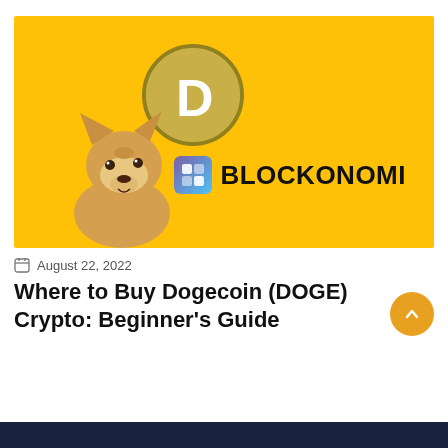[Figure (illustration): Dogecoin (DOGE) cryptocurrency promotional image on yellow background featuring the Dogecoin logo with Shiba Inu dog and Blockonomi branding]
August 22, 2022
Where to Buy Dogecoin (DOGE) Crypto: Beginner's Guide